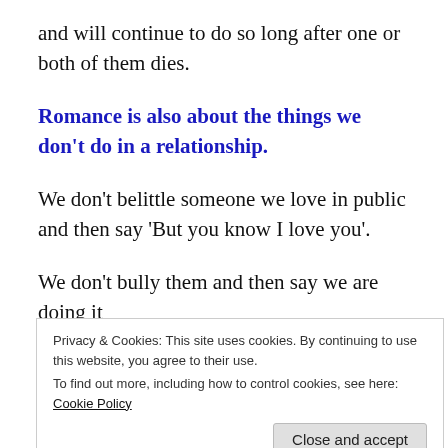and will continue to do so long after one or both of them dies.
Romance is also about the things we don't do in a relationship.
We don't belittle someone we love in public and then say 'But you know I love you'.
We don't bully them and then say we are doing it
Privacy & Cookies: This site uses cookies. By continuing to use this website, you agree to their use.
To find out more, including how to control cookies, see here: Cookie Policy
the fairy princess, and then set about changing them